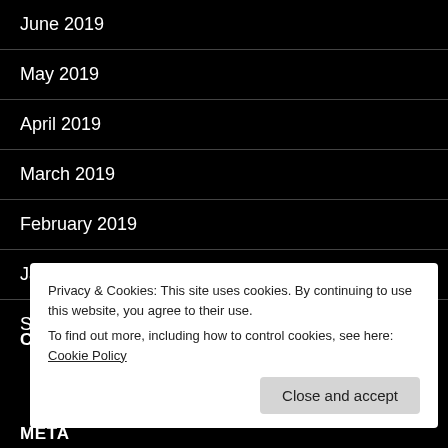June 2019
May 2019
April 2019
March 2019
February 2019
January 2019
September 2018
CATEGORIES
META
Privacy & Cookies: This site uses cookies. By continuing to use this website, you agree to their use.
To find out more, including how to control cookies, see here: Cookie Policy